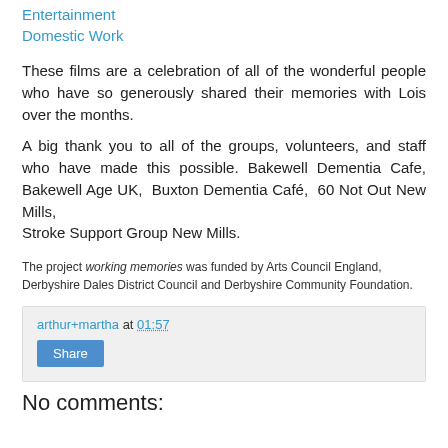Entertainment
Domestic Work
These films are a celebration of all of the wonderful people who have so generously shared their memories with Lois over the months.
A big thank you to all of the groups, volunteers, and staff who have made this possible. Bakewell Dementia Cafe, Bakewell Age UK,  Buxton Dementia Café,  60 Not Out New Mills,
Stroke Support Group New Mills.
The project working memories was funded by Arts Council England, Derbyshire Dales District Council and Derbyshire Community Foundation.
arthur+martha at 01:57
Share
No comments: